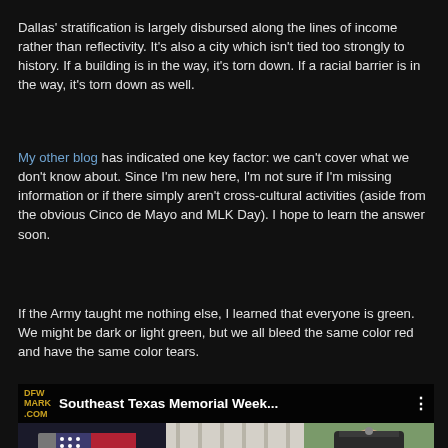Dallas' stratification is largely disbursed along the lines of income rather than reflectivity. It's also a city which isn't tied too strongly to history. If a building is in the way, it's torn down. If a racial barrier is in the way, it's torn down as well.
My other blog has indicated one key factor: we can't cover what we don't know about. Since I'm new here, I'm not sure if I'm missing information or if there simply aren't cross-cultural activities (aside from the obvious Cinco de Mayo and MLK Day). I hope to learn the answer soon.
If the Army taught me nothing else, I learned that everyone is green. We might be dark or light green, but we all bleed the same color red and have the same color tears.
[Figure (screenshot): Video thumbnail showing 'Southeast Texas Memorial Week...' with DFW MARK .COM logo, a saluting military officer in uniform, an American flag, and white curtain backdrop.]